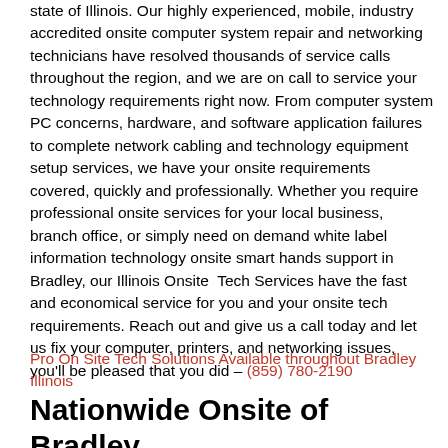state of Illinois. Our highly experienced, mobile, industry accredited onsite computer system repair and networking technicians have resolved thousands of service calls throughout the region, and we are on call to service your technology requirements right now. From computer system PC concerns, hardware, and software application failures to complete network cabling and technology equipment setup services, we have your onsite requirements covered, quickly and professionally. Whether you require professional onsite services for your local business, branch office, or simply need on demand white label information technology onsite smart hands support in Bradley, our Illinois Onsite  Tech Services have the fast and economical service for you and your onsite tech requirements. Reach out and give us a call today and let us fix your computer, printers, and networking issues, you'll be pleased that you did – (859) 780-2190
Pro On Site Tech Solutions Available throughout Bradley Illinois
Nationwide Onsite of Bradley